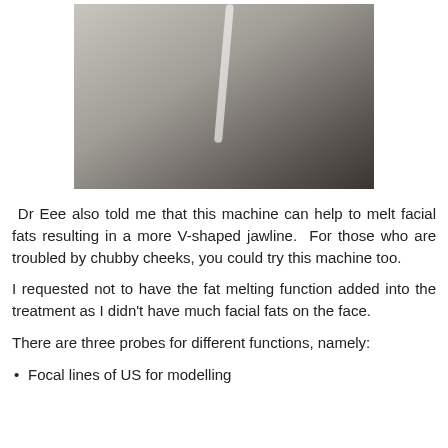[Figure (photo): A medical/aesthetic machine photographed in a clinical setting, showing a white device with a tube/probe attached, with tiled flooring visible at the bottom and a water bottle in the background.]
Dr Eee also told me that this machine can help to melt facial fats resulting in a more V-shaped jawline. For those who are troubled by chubby cheeks, you could try this machine too.
I requested not to have the fat melting function added into the treatment as I didn't have much facial fats on the face.
There are three probes for different functions, namely:
Focal lines of US for modelling